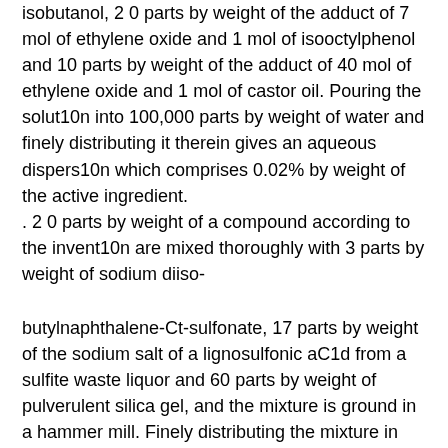isobutanol, 2 0 parts by weight of the adduct of 7 mol of ethylene oxide and 1 mol of isooctylphenol and 10 parts by weight of the adduct of 40 mol of ethylene oxide and 1 mol of castor oil. Pouring the solut10n into 100,000 parts by weight of water and finely distributing it therein gives an aqueous dispers10n which comprises 0.02% by weight of the active ingredient.
. 2 0 parts by weight of a compound according to the invent10n are mixed thoroughly with 3 parts by weight of sodium diiso-
butylnaphthalene-Ct-sulfonate, 17 parts by weight of the sodium salt of a lignosulfonic aC1d from a sulfite waste liquor and 60 parts by weight of pulverulent silica gel, and the mixture is ground in a hammer mill. Finely distributing the mixture in 20,000 parts by weight of water gives a spray mixture which comprises 0.1% by weight of the active ingredient.
The active ingredients can be used as such, in the form of their formulat10ns or the use forms prepared therefrom, e.g. in the form of directly sprayable solut10ns, powders, suspens10ns or dispers10ns, emuls10ns, oil dispers10ns, pastes, dusts, materials for